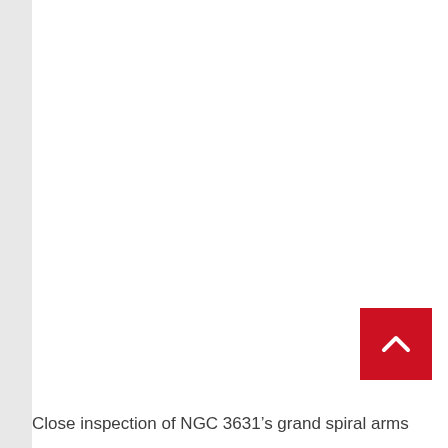[Figure (photo): Large mostly white/blank image area representing a photo of NGC 3631 galaxy spiral arms (image content not visible in this cropped view)]
Close inspection of NGC 3631’s grand spiral arms